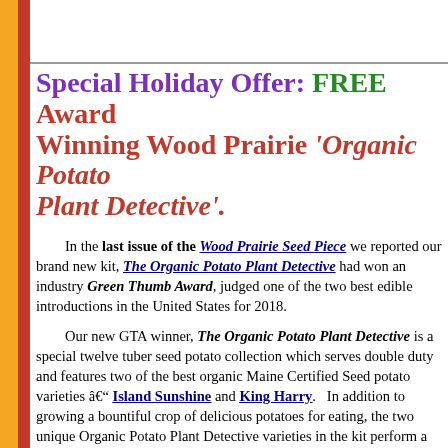Special Holiday Offer: FREE Award Winning Wood Prairie 'Organic Potato Plant Detective'.
In the last issue of the Wood Prairie Seed Piece we reported our brand new kit, The Organic Potato Plant Detective had won an industry Green Thumb Award, judged one of the two best edible introductions in the United States for 2018.
Our new GTA winner, The Organic Potato Plant Detective is a special twelve tuber seed potato collection which serves double duty and features two of the best organic Maine Certified Seed potato varieties â€" Island Sunshine and King Harry.   In addition to growing a bountiful crop of delicious potatoes for eating, the two unique Organic Potato Plant Detective varieties in the kit perform a detective-like bioassay function, helping growers of all sizes di potato variety problems.